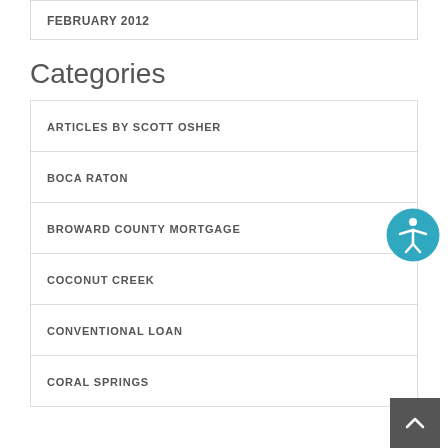FEBRUARY 2012
Categories
ARTICLES BY SCOTT OSHER
BOCA RATON
BROWARD COUNTY MORTGAGE
COCONUT CREEK
CONVENTIONAL LOAN
CORAL SPRINGS